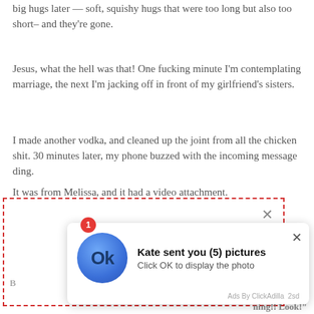big hugs later — soft, squishy hugs that were too long but also too short– and they're gone.
Jesus, what the hell was that! One fucking minute I'm contemplating marriage, the next I'm jacking off in front of my girlfriend's sisters.
I made another vodka, and cleaned up the joint from all the chicken shit. 30 minutes later, my phone buzzed with the incoming message ding.
It was from Melissa, and it had a video attachment.
[Figure (screenshot): A dashed red-bordered ad box containing a browser notification popup. The notification shows a blue circular icon with 'Ok' text, a red badge with '1', title 'Kate sent you (5) pictures', subtitle 'Click OK to display the photo', a close X button, and footer 'Ads By ClickAdilla 2sd'.]